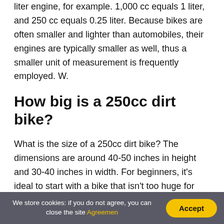liter engine, for example. 1,000 cc equals 1 liter, and 250 cc equals 0.25 liter. Because bikes are often smaller and lighter than automobiles, their engines are typically smaller as well, thus a smaller unit of measurement is frequently employed. W.
How big is a 250cc dirt bike?
What is the size of a 250cc dirt bike? The dimensions are around 40-50 inches in height and 30-40 inches in width. For beginners, it's ideal to start with a bike that isn't too huge for your height, as it might be difficult to handle a bike that is too large for your height when you first learn
We store cookies: if you do not agree, you can close the site Agreemen